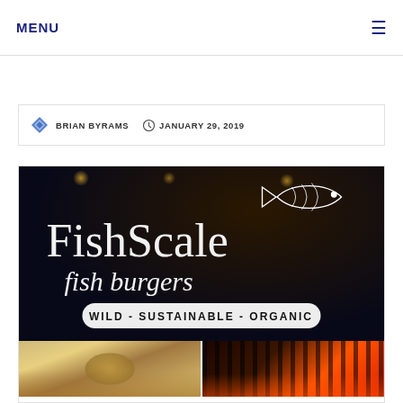MENU
Ambassador Lewis and Donna Stevenson
BRIAN BYRAMS   JANUARY 29, 2019
[Figure (photo): FishScale fish burgers restaurant logo on dark background with text 'WILD - SUSTAINABLE - ORGANIC', with hanging lights visible in background]
[Figure (photo): Two food photos side by side: left shows a fish burger, right shows grilled fish on a grill with flames]